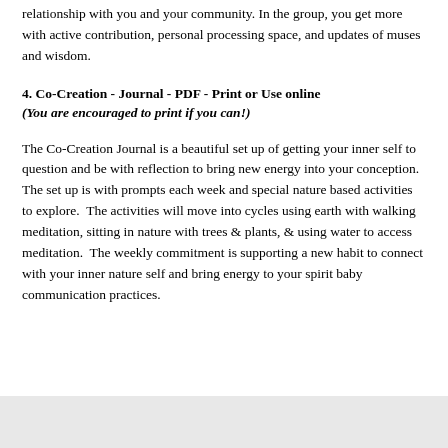relationship with you and your community. In the group, you get more with active contribution, personal processing space, and updates of muses and wisdom.
4. Co-Creation - Journal - PDF - Print or Use online
(You are encouraged to print if you can!)
The Co-Creation Journal is a beautiful set up of getting your inner self to question and be with reflection to bring new energy into your conception.  The set up is with prompts each week and special nature based activities to explore.  The activities will move into cycles using earth with walking meditation, sitting in nature with trees & plants, & using water to access meditation.  The weekly commitment is supporting a new habit to connect with your inner nature self and bring energy to your spirit baby communication practices.